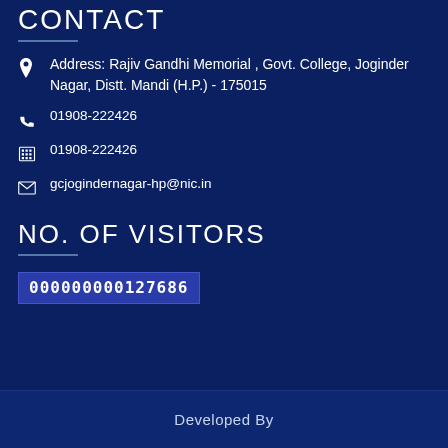CONTACT
Address: Rajiv Gandhi Memorial , Govt. College, Joginder Nagar, Distt. Mandi (H.P.) - 175015
01908-222426
01908-222426
gcjogindernagar-hp@nic.in
NO. OF VISITORS
000000000127686
Developed By